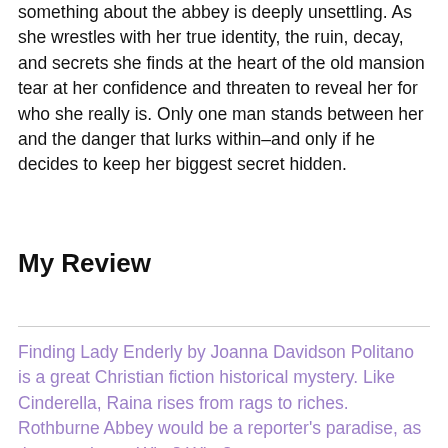something about the abbey is deeply unsettling. As she wrestles with her true identity, the ruin, decay, and secrets she finds at the heart of the old mansion tear at her confidence and threaten to reveal her for who she really is. Only one man stands between her and the danger that lurks within–and only if he decides to keep her biggest secret hidden.
My Review
Finding Lady Enderly by Joanna Davidson Politano is a great Christian fiction historical mystery. Like Cinderella, Raina rises from rags to riches. Rothburne Abbey would be a reporter's paradise, as the questions «Why? Who?